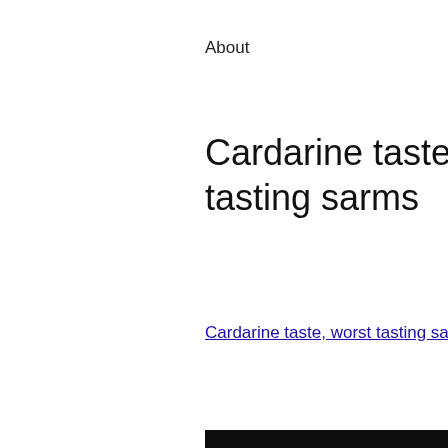About
Cardarine taste, worst tasting sarms
Cardarine taste, worst tasting sarms - Buy legal anabolic steroids
[Figure (photo): A dark blurry image showing a figure and supplement product badges at the bottom]